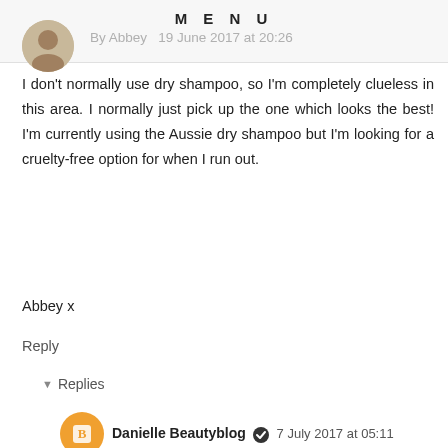MENU
By Abbey  19 June 2017 at 20:26
I don't normally use dry shampoo, so I'm completely clueless in this area. I normally just pick up the one which looks the best! I'm currently using the Aussie dry shampoo but I'm looking for a cruelty-free option for when I run out.
Abbey x
Reply
Replies
Danielle Beautyblog  7 July 2017 at 05:11
Ooh that sounds good! Hope you find a good cruelty free option too! Xx
Reply
Lusitana Blog  19 June 2017 at 22:00